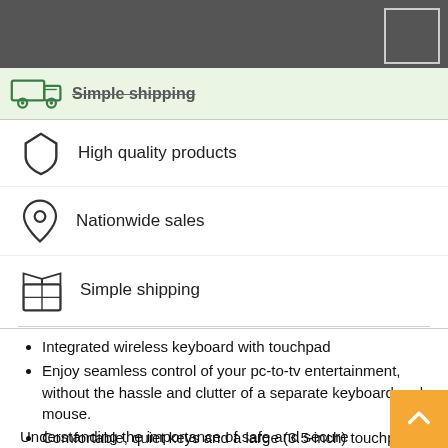[Figure (illustration): Dark grey top navigation bar with a square outline button in the top right corner]
Simple shipping (green banner with truck icon, partially shown)
High quality products
Nationwide sales
Simple shipping
Integrated wireless keyboard with touchpad
Enjoy seamless control of your pc-to-tv entertainment, without the hassle and clutter of a separate keyboard and mouse.
Comfortable, quiet keys and a large (3.5-inch) touchpad make navigation effortless.
Understanding the importance of safe and secure